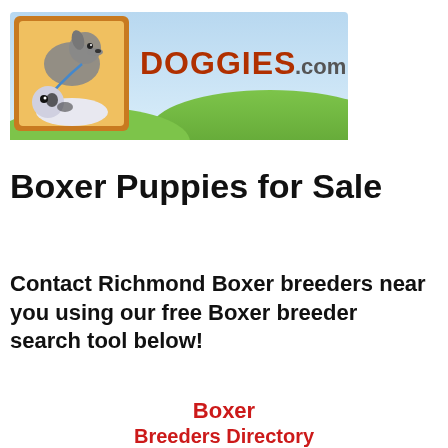[Figure (logo): Doggies.com banner logo with cartoon dog illustrations and green field background]
Boxer Puppies for Sale
Contact Richmond Boxer breeders near you using our free Boxer breeder search tool below!
Boxer
Breeders Directory